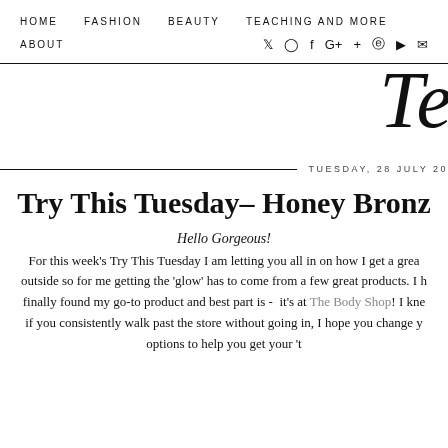HOME   FASHION   BEAUTY   TEACHING AND MORE
ABOUT
[Figure (logo): Cursive script logo starting with 'Te' (partially visible)]
TUESDAY, 28 JULY 20...
Try This Tuesday– Honey Bronz...
Hello Gorgeous!
For this week's Try This Tuesday I am letting you all in on how I get a grea... outside so for me getting the 'glow' has to come from a few great products. I h... finally found my go-to product and best part is - it's at The Body Shop! I kne... if you consistently walk past the store without going in, I hope you change y... options to help you get your 't...